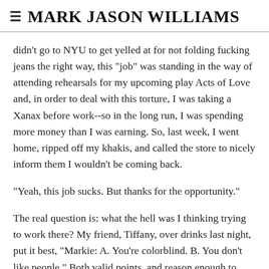≡ MARK JASON WILLIAMS
didn't go to NYU to get yelled at for not folding fucking jeans the right way, this "job" was standing in the way of attending rehearsals for my upcoming play Acts of Love and, in order to deal with this torture, I was taking a Xanax before work--so in the long run, I was spending more money than I was earning. So, last week, I went home, ripped off my khakis, and called the store to nicely inform them I wouldn't be coming back.
"Yeah, this job sucks. But thanks for the opportunity."
The real question is: what the hell was I thinking trying to work there? My friend, Tiffany, over drinks last night, put it best, "Markie: A. You're colorblind. B. You don't like people." Both valid points, and reason enough to think I'll find something better.